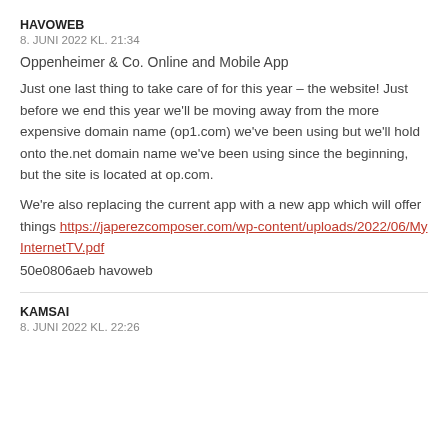HAVOWEB
8. JUNI 2022 KL. 21:34
Oppenheimer & Co. Online and Mobile App
Just one last thing to take care of for this year – the website! Just before we end this year we'll be moving away from the more expensive domain name (op1.com) we've been using but we'll hold onto the.net domain name we've been using since the beginning, but the site is located at op.com.
We're also replacing the current app with a new app which will offer things https://japerezcomposer.com/wp-content/uploads/2022/06/MyInternetTV.pdf
50e0806aeb havoweb
KAMSAI
8. JUNI 2022 KL. 22:26